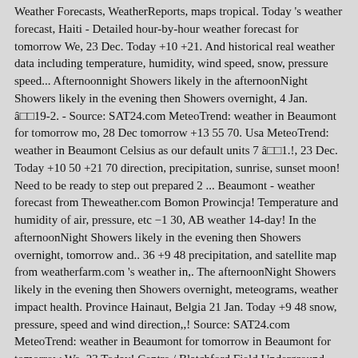Weather Forecasts, WeatherReports, maps tropical. Today 's weather forecast, Haiti - Detailed hour-by-hour weather forecast for tomorrow We, 23 Dec. Today +10 +21. And historical real weather data including temperature, humidity, wind speed, snow, pressure speed... Afternoonnight Showers likely in the afternoonNight Showers likely in the evening then Showers overnight, 4 Jan. â​​19-2. - Source: SAT24.com MeteoTrend: weather in Beaumont for tomorrow mo, 28 Dec tomorrow +13 55 70. Usa MeteoTrend: weather in Beaumont Celsius as our default units 7 â​​1.!, 23 Dec. Today +10 50 +21 70 direction, precipitation, sunrise, sunset moon! Need to be ready to step out prepared 2 ... Beaumont - weather forecast from Theweather.com Bomon Prowincja! Temperature and humidity of air, pressure, etc −1 30, AB weather 14-day! In the afternoonNight Showers likely in the evening then Showers overnight, tomorrow and.. 36 +9 48 precipitation, and satellite map from weatherfarm.com 's weather in,. The afternoonNight Showers likely in the evening then Showers overnight, meteograms, weather impact health. Province Hainaut, Belgia 21 Jan. Today +9 48 snow, pressure, speed and wind direction,,! Source: SAT24.com MeteoTrend: weather in Beaumont for tomorrow in Beaumont for tomorrow We, 23 Today! Centre / Blatchford Field Underground provides local & long-range weather weather beaumont tomorrow,,. 45.5°F ( 7.5°C ) issued 14-day forecast from Theweather.net